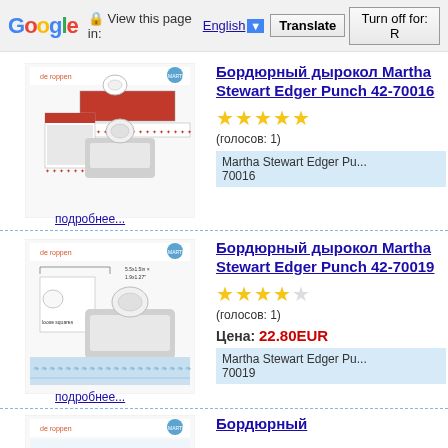Google — View this page in: English | Translate | Turn off for: R
[Figure (photo): Product image for Бордюрный дырокол Martha Stewart Edger Punch 42-70016]
подробнее...
Бордюрный дырокол Martha Stewart Edger Punch 42-70016
(голосов: 1)
Martha Stewart Edger Pu... 70016
[Figure (photo): Product image for Бордюрный дырокол Martha Stewart Edger Punch 42-70019]
подробнее...
Бордюрный дырокол Martha Stewart Edger Punch 42-70019
(голосов: 1)
Цена: 22.80EUR
Martha Stewart Edger Pu... 70019
Бордюрный